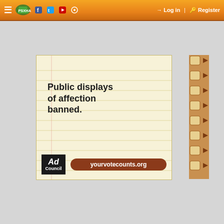PSXHAX navigation bar with hamburger menu, logo, Facebook, Twitter, YouTube, forum icons, Log in, Register buttons
[Figure (screenshot): Ad Council advertisement on notebook paper background reading 'Public displays of affection banned.' with yourvotecounts.org URL and Ad Council logo, with torn spiral binding on right side]